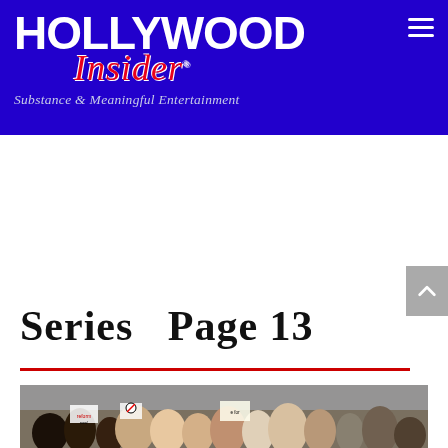Hollywood Insider - Substance & Meaningful Entertainment
Series  Page 13
[Figure (photo): Crowd of protesters holding signs at a march, including gun reform signs]